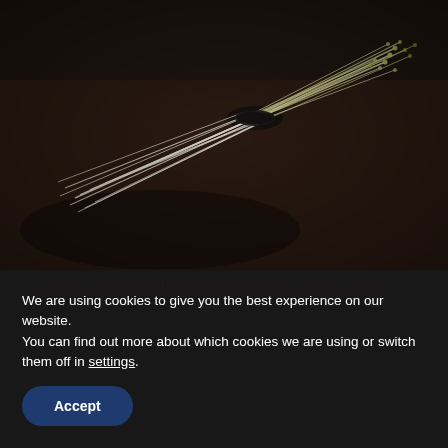[Figure (photo): Bundle of lemon yellow pointed stamens tied with a black band, lying on a dark brown surface. The stamens are white-stemmed with yellow-green pointed tips, fanned out at one end.]
Lemon yellow POINTED stamens in various sizes
We are using cookies to give you the best experience on our website.
You can find out more about which cookies we are using or switch them off in settings.
Accept